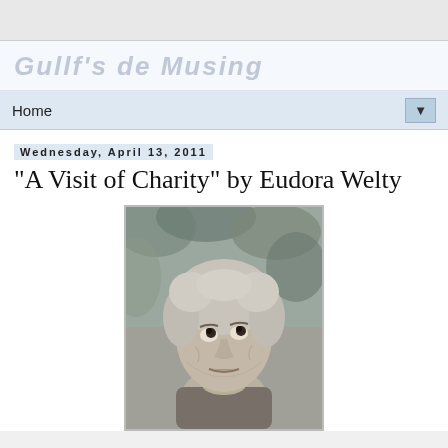Gullf's de Musing
Home
Wednesday, April 13, 2011
"A Visit of Charity" by Eudora Welty
[Figure (photo): Black and white photograph of Eudora Welty, an elderly woman looking upward, with curly gray hair, wearing a patterned scarf and jacket, with foliage in the background.]